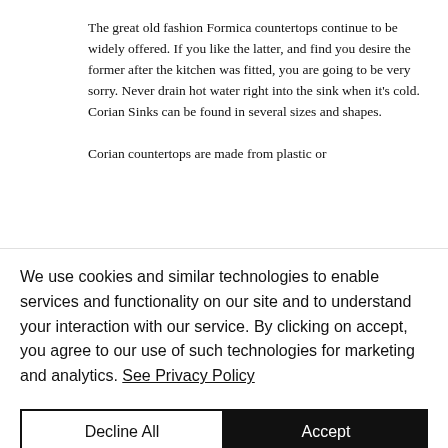The great old fashion Formica countertops continue to be widely offered. If you like the latter, and find you desire the former after the kitchen was fitted, you are going to be very sorry. Never drain hot water right into the sink when it's cold. Corian Sinks can be found in several sizes and shapes.

Corian countertops are made from plastic or
We use cookies and similar technologies to enable services and functionality on our site and to understand your interaction with our service. By clicking on accept, you agree to our use of such technologies for marketing and analytics. See Privacy Policy
Decline All
Accept
Cookie Settings